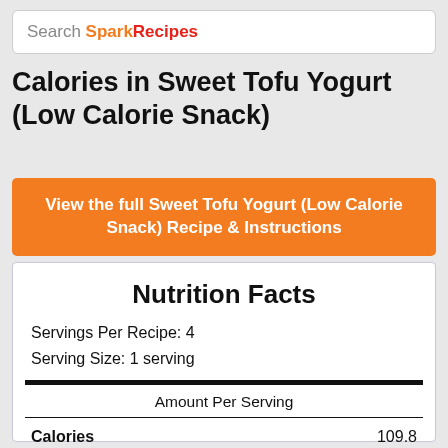Search SparkRecipes
Calories in Sweet Tofu Yogurt (Low Calorie Snack)
View the full Sweet Tofu Yogurt (Low Calorie Snack) Recipe & Instructions
|  |  |
| --- | --- |
| Nutrition Facts |  |
| Servings Per Recipe: | 4 |
| Serving Size: | 1 serving |
| Amount Per Serving |  |
| Calories | 109.8 |
| Total Fat | 5.2 g |